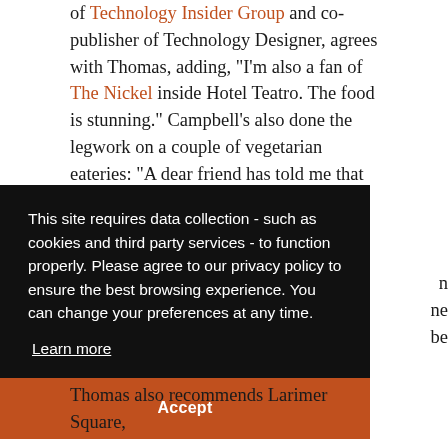of Technology Insider Group and co-publisher of Technology Designer, agrees with Thomas, adding, “I’m also a fan of The Nickel inside Hotel Teatro. The food is stunning.” Campbell’s also done the legwork on a couple of vegetarian eateries: “A dear friend has told me that City, O’ City is
This site requires data collection - such as cookies and third party services - to function properly. Please agree to our privacy policy to ensure the best browsing experience. You can change your preferences at any time. Learn more Accept
Thomas also recommends Larimer Square,